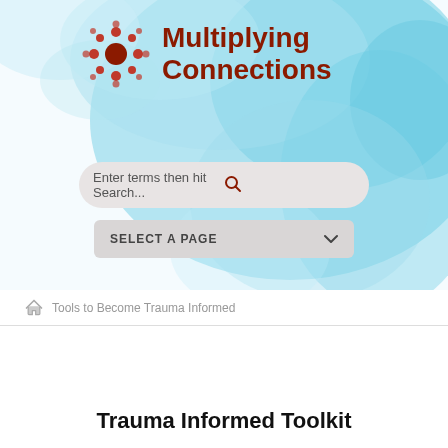[Figure (logo): Multiplying Connections logo with red circular dot pattern icon and red bold text 'Multiplying Connections' on a light blue watercolor background]
Enter terms then hit Search...
SELECT A PAGE
Tools to Become Trauma Informed
Trauma Informed Toolkit